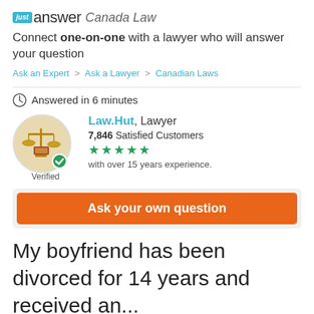just answer Canada Law
Connect one-on-one with a lawyer who will answer your question
Ask an Expert > Ask a Lawyer > Canadian Laws
Answered in 6 minutes
[Figure (illustration): Circular avatar of scales of justice with a green verified checkmark badge at bottom right, and 'Verified' label below]
Law.Hut, Lawyer
7,846 Satisfied Customers
★★★★★
with over 15 years experience.
Ask your own question
My boyfriend has been divorced for 14 years and received an...